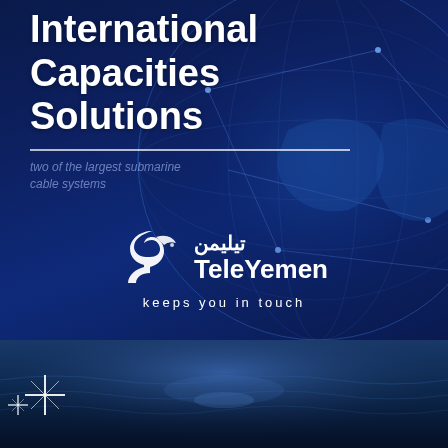International Capacities Solutions
two of the largest submarine cable systems
[Figure (logo): TeleYemen logo with stylized dove/S symbol, Arabic text, and 'TeleYemen' wordmark with tagline 'keeps you in touch']
[Figure (photo): Ocean surface with light reflections and star-burst light effects in the lower section]